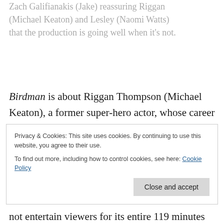Zach Galifianakis (Jake) reassuring Riggan (Michael Keaton) and Lesley (Naomi Watts) that the production is going well when it's not.
Birdman is about Riggan Thompson (Michael Keaton), a former super-hero actor, whose career has been going downhill for two decades. Now, Riggan is trying to rejuvenate his career by writing, directing and acting in a Broadway adaptation of John Carver's short story What
Privacy & Cookies: This site uses cookies. By continuing to use this website, you agree to their use.
To find out more, including how to control cookies, see here: Cookie Policy
Close and accept
not entertain viewers for its entire 119 minutes running time